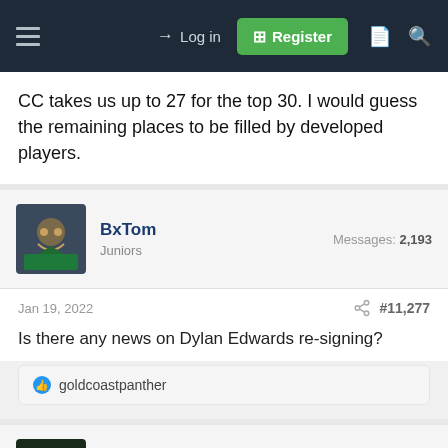Log in | Register
CC takes us up to 27 for the top 30. I would guess the remaining places to be filled by developed players.
BxTom
Juniors
Messages: 2,193
Jan 19, 2022  #11,277
Is there any news on Dylan Edwards re-signing?
goldcoastpanther
Thirsty Panther
Juniors
Messages: 1,042